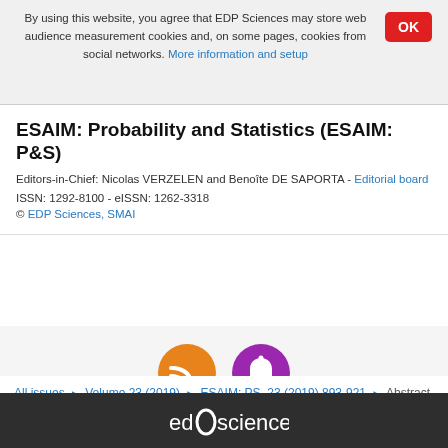By using this website, you agree that EDP Sciences may store web audience measurement cookies and, on some pages, cookies from social networks. More information and setup
ESAIM: Probability and Statistics (ESAIM: P&S)
Editors-in-Chief: Nicolas VERZELEN and Benoîte DE SAPORTA - Editorial board
ISSN: 1292-8100 - eISSN: 1262-3318
© EDP Sciences, SMAI
[Figure (other): Two circular icon buttons: orange RSS feed icon and purple notification bell icon]
All issues ▶ Volume 23 (2019) ▶ ESAIM: PS, 23 (2019) 893-921 ▶ Abstract
Back to top
EDP Sciences logo